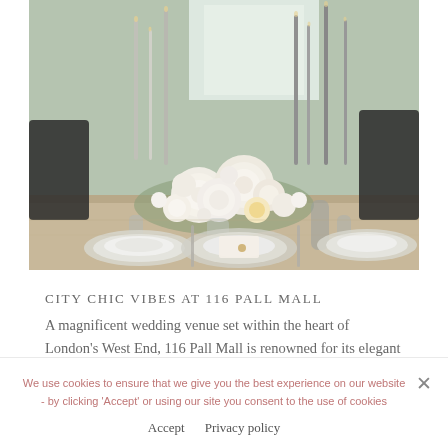[Figure (photo): Elegant wedding table setting with tall white and grey taper candles, white floral centerpiece with roses and garden flowers, glass charger plates with white napkins, and grey glass bud vases on a wooden table. Tiled green wall and bright window in background.]
CITY CHIC VIBES AT 116 PALL MALL
A magnificent wedding venue set within the heart of London’s West End, 116 Pall Mall is renowned for its elegant interiors, first-class
We use cookies to ensure that we give you the best experience on our website - by clicking ‘Accept’ or using our site you consent to the use of cookies
Accept   Privacy policy